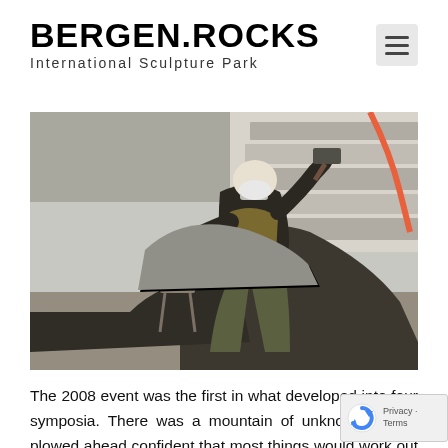BERGEN.ROCKS International Sculpture Park
[Figure (photo): A sculptor wearing a mask and apron, seated and working on a large rough stone block with a hammer and chisel in an outdoor quarry or stone-working area. Bright sunlight, white stone dust and debris around.]
The 2008 event was the first in what developed into four symposia. There was a mountain of unknowns, but I plowed ahead confident that most things would work out and where there